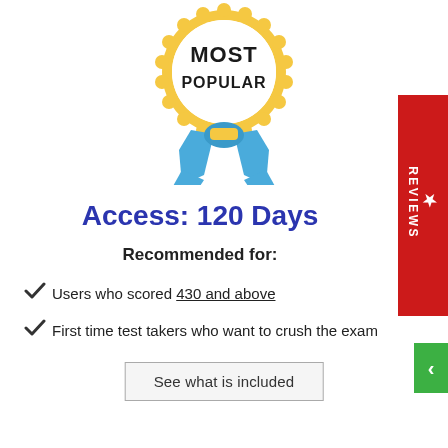[Figure (illustration): A 'Most Popular' award badge with gold scalloped border containing white center with text 'MOST POPULAR', and blue ribbon hanging below.]
Access: 120 Days
Recommended for:
Users who scored 430 and above
First time test takers who want to crush the exam
See what is included